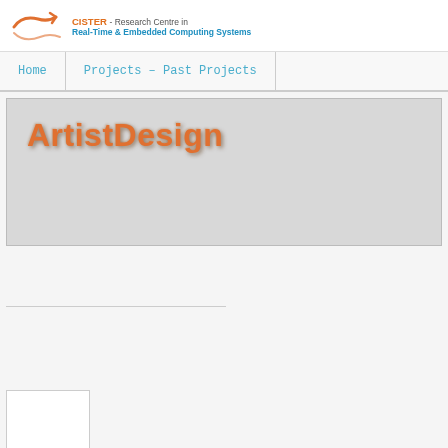CISTER - Research Centre in Real-Time & Embedded Computing Systems
Home | Projects - Past Projects
ArtistDesign
[Figure (other): Empty divider line separator]
[Figure (other): Small white rectangle box at bottom left]